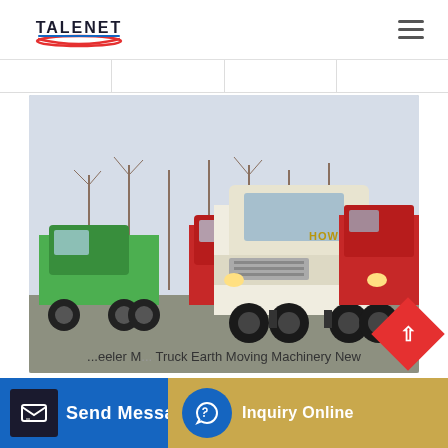TALENET
[Figure (photo): Multiple heavy-duty trucks parked in a lot. Center foreground: white Howo tractor unit. Left: green truck. Behind: red trucks. Bare trees visible in background.]
...eeler M... Truck Earth Moving Machinery New
Send Message
Inquiry Online